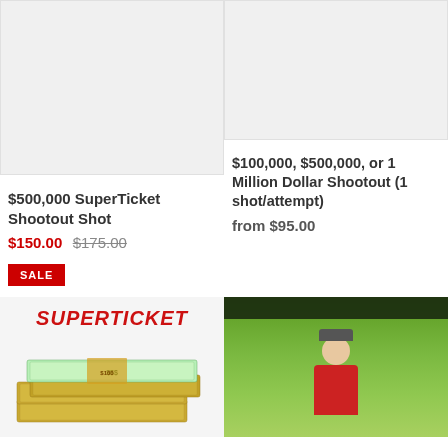[Figure (photo): Light gray placeholder image for $500,000 SuperTicket Shootout Shot product]
$500,000 SuperTicket Shootout Shot
$150.00  $175.00
SALE
[Figure (photo): Light gray placeholder image for $100,000, $500,000, or 1 Million Dollar Shootout product]
$100,000, $500,000, or 1 Million Dollar Shootout (1 shot/attempt)
from $95.00
[Figure (photo): SuperTicket logo with stacks of money bills below]
[Figure (photo): Person in red shirt smiling outdoors near golf carts under trees]